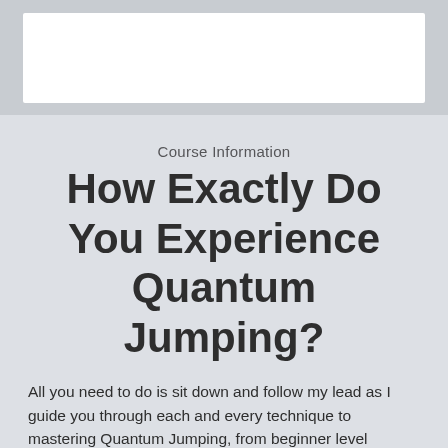[Figure (other): White rectangular box on grey background at top of page]
Course Information
How Exactly Do You Experience Quantum Jumping?
All you need to do is sit down and follow my lead as I guide you through each and every technique to mastering Quantum Jumping, from beginner level visualizations to highly advanced exercises.
Absorb the principles and history behind each and every one of them. Listen as I inspire you with tales of success, and how you